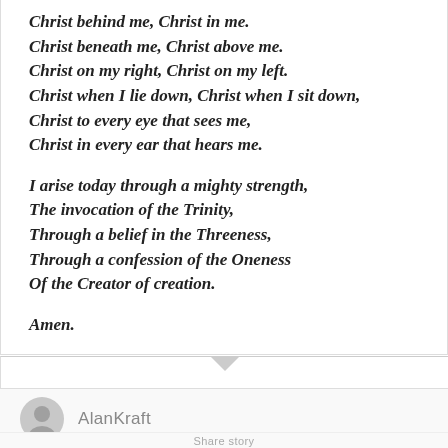Christ behind me, Christ in me.
Christ beneath me, Christ above me.
Christ on my right, Christ on my left.
Christ when I lie down, Christ when I sit down,
Christ to every eye that sees me,
Christ in every ear that hears me.

I arise today through a mighty strength,
The invocation of the Trinity,
Through a belief in the Threeness,
Through a confession of the Oneness
Of the Creator of creation.

Amen.
AlanKraft
Share story